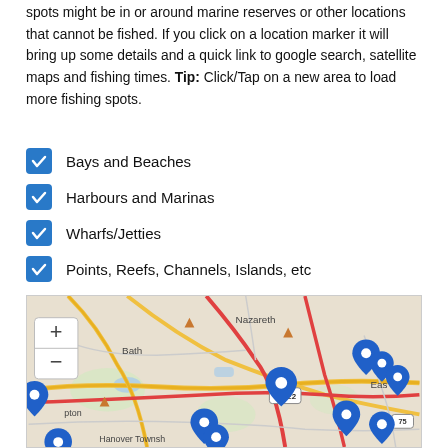spots might be in or around marine reserves or other locations that cannot be fished. If you click on a location marker it will bring up some details and a quick link to google search, satellite maps and fishing times. Tip: Click/Tap on a new area to load more fishing spots.
Bays and Beaches
Harbours and Marinas
Wharfs/Jetties
Points, Reefs, Channels, Islands, etc
[Figure (map): Interactive map showing fishing spots near Nazareth, Bath, Hanover Township, and Easton area with blue location markers and zoom controls.]